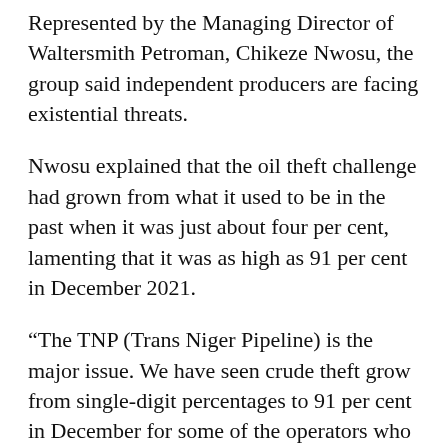Represented by the Managing Director of Waltersmith Petroman, Chikeze Nwosu, the group said independent producers are facing existential threats.
Nwosu explained that the oil theft challenge had grown from what it used to be in the past when it was just about four per cent, lamenting that it was as high as 91 per cent in December 2021.
“The TNP (Trans Niger Pipeline) is the major issue. We have seen crude theft grow from single-digit percentages to 91 per cent in December for some of the operators who produce into the TNP, 75 per cent in January and the February report